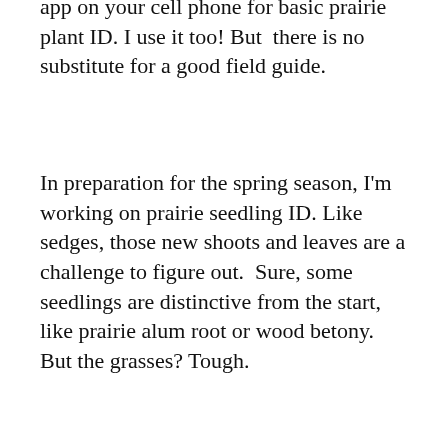app on your cell phone for basic prairie plant ID. I use it too! But there is no substitute for a good field guide.
In preparation for the spring season, I'm working on prairie seedling ID. Like sedges, those new shoots and leaves are a challenge to figure out. Sure, some seedlings are distinctive from the start, like prairie alum root or wood betony. But the grasses? Tough.
Two books have been particularly useful to me this year: The Tallgrass Prairie Center Guide to Seed and Seedling Identification in the Upper Midwest by Dave Williams (another great Bur Oak book) and the Prairie Seedling and Seeding Evaluation Guide (Paul Bockenstedt, et al.) I picked up the spiral edition of Prairie Seedling on a visit to University of Wisconsin-